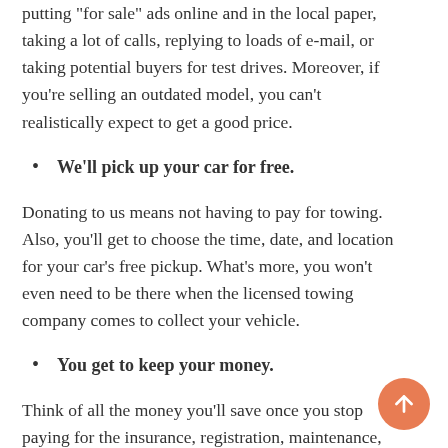putting 'for sale' ads online and in the local paper, taking a lot of calls, replying to loads of e-mail, or taking potential buyers for test drives. Moreover, if you're selling an outdated model, you can't realistically expect to get a good price.
We'll pick up your car for free.
Donating to us means not having to pay for towing. Also, you'll get to choose the time, date, and location for your car's free pickup. What's more, you won't even need to be there when the licensed towing company comes to collect your vehicle.
You get to keep your money.
Think of all the money you'll save once you stop paying for the insurance, registration, maintenance, and repair